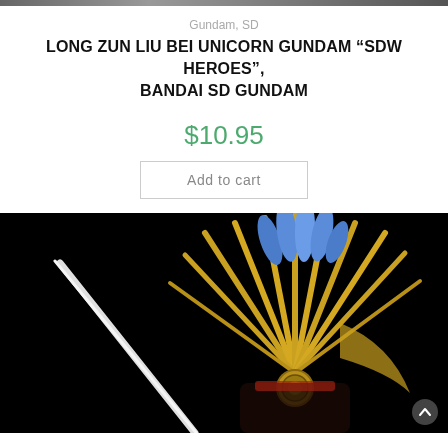[Figure (photo): Top decorative image bar, partially visible]
Gundam, SD
LONG ZUN LIU BEI UNICORN GUNDAM “SDW HEROES”, BANDAI SD GUNDAM
$10.95
Add to cart
[Figure (photo): Product photo of Long Zun Liu Bei Unicorn Gundam figure against black background, showing ornate golden fan-like headdress with blue flame decoration and white weapon on left side]